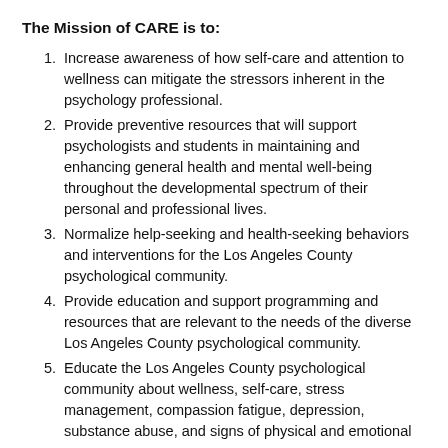The Mission of CARE is to:
Increase awareness of how self-care and attention to wellness can mitigate the stressors inherent in the psychology professional.
Provide preventive resources that will support psychologists and students in maintaining and enhancing general health and mental well-being throughout the developmental spectrum of their personal and professional lives.
Normalize help-seeking and health-seeking behaviors and interventions for the Los Angeles County psychological community.
Provide education and support programming and resources that are relevant to the needs of the diverse Los Angeles County psychological community.
Educate the Los Angeles County psychological community about wellness, self-care, stress management, compassion fatigue, depression, substance abuse, and signs of physical and emotional dis...